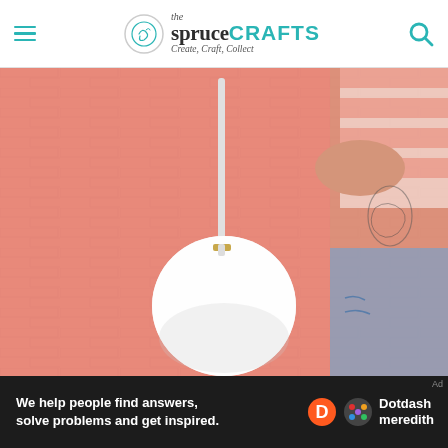the spruce CRAFTS — Create, Craft, Collect
[Figure (photo): Person in a pink-and-white striped shirt with a tattoo holding a white round crossbody bag against a pink brick wall]
We help people find answers, solve problems and get inspired. Dotdash meredith